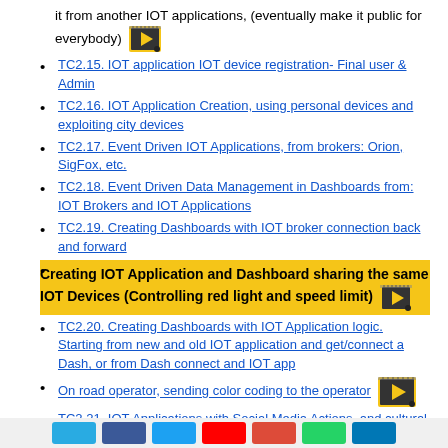it from another IOT applications, (eventually make it public for everybody)
TC2.15.    IOT application IOT device registration- Final user  & Admin
TC2.16.    IOT Application Creation, using personal devices and exploiting city devices
TC2.17.    Event Driven IOT Applications, from brokers: Orion, SigFox, etc.
TC2.18.    Event Driven Data Management in Dashboards from: IOT Brokers and IOT Applications
TC2.19.    Creating Dashboards with IOT broker connection back and forward
Creating IOT Application and Dashboard sharing the same IOT Devices (Controlling red light and speed limit)
TC2.20.    Creating Dashboards with IOT Application logic. Starting from new and old IOT application and get/connect a Dash, or from Dash connect and IOT app
On road operator, sending color coding to the operator
TC2.21.    IOT Applications with Social Media Actions, and cultural scenarious